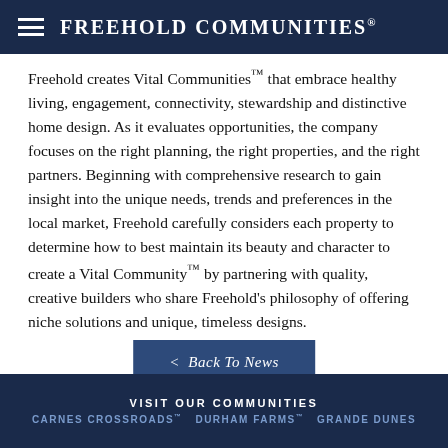Freehold Communities®
Freehold creates Vital Communities™ that embrace healthy living, engagement, connectivity, stewardship and distinctive home design. As it evaluates opportunities, the company focuses on the right planning, the right properties, and the right partners. Beginning with comprehensive research to gain insight into the unique needs, trends and preferences in the local market, Freehold carefully considers each property to determine how to best maintain its beauty and character to create a Vital Community™ by partnering with quality, creative builders who share Freehold's philosophy of offering niche solutions and unique, timeless designs.
< Back To News
VISIT OUR COMMUNITIES
CARNES CROSSROADS™   DURHAM FARMS™   GRANDE DUNES